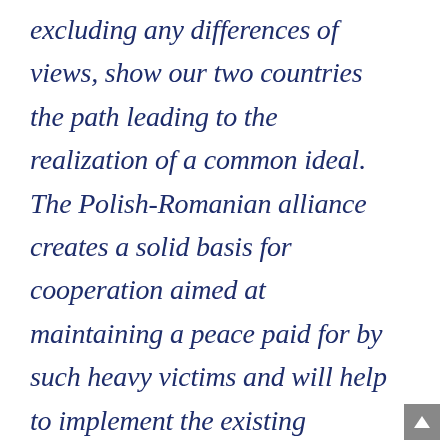excluding any differences of views, show our two countries the path leading to the realization of a common ideal. The Polish-Romanian alliance creates a solid basis for cooperation aimed at maintaining a peace paid for by such heavy victims and will help to implement the existing treaties, their benefits and the noble mission indicated by them." Good Polish-Romanian relations have long traditions and it does not seem that